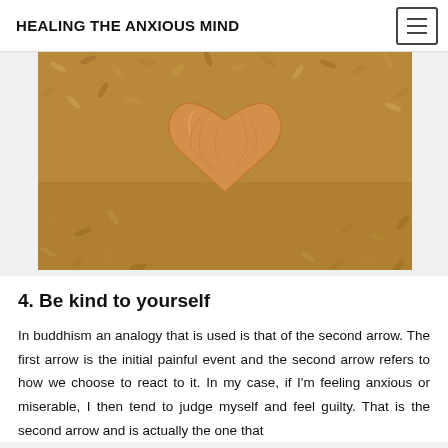HEALING THE ANXIOUS MIND
[Figure (photo): A wooden heart-shaped object resting on a bed of grain/seeds, with warm brown tones throughout.]
4. Be kind to yourself
In buddhism an analogy that is used is that of the second arrow. The first arrow is the initial painful event and the second arrow refers to how we choose to react to it. In my case, if I'm feeling anxious or miserable, I then tend to judge myself and feel guilty. That is the second arrow and is actually the one that